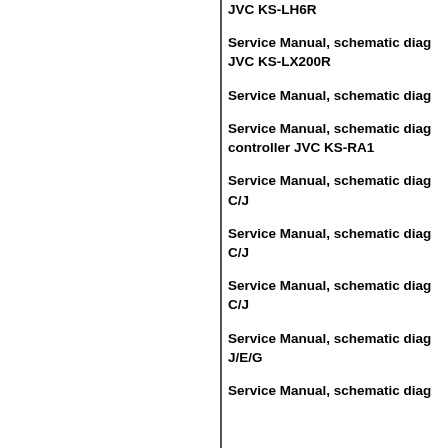JVC KS-LH6R
Service Manual, schematic diag... JVC KS-LX200R
Service Manual, schematic diag...
Service Manual, schematic diag... controller JVC KS-RA1
Service Manual, schematic diag... C/J
Service Manual, schematic diag... C/J
Service Manual, schematic diag... C/J
Service Manual, schematic diag... J/E/G
Service Manual, schematic diag...